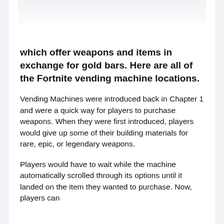which offer weapons and items in exchange for gold bars. Here are all of the Fortnite vending machine locations.
Vending Machines were introduced back in Chapter 1 and were a quick way for players to purchase weapons. When they were first introduced, players would give up some of their building materials for rare, epic, or legendary weapons.
Players would have to wait while the machine automatically scrolled through its options until it landed on the item they wanted to purchase. Now, players can